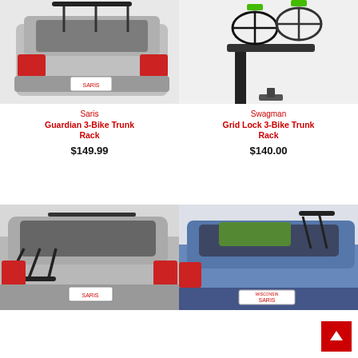[Figure (photo): Saris Guardian 3-Bike Trunk Rack mounted on rear of silver SUV]
[Figure (photo): Swagman Grid Lock 3-Bike Trunk Rack shown holding bikes with green wheels]
Saris
Guardian 3-Bike Trunk Rack
Swagman
Grid Lock 3-Bike Trunk Rack
$149.99
$140.00
[Figure (photo): Bike trunk rack on rear of silver SUV, black rack with multiple arms]
[Figure (photo): Bike trunk rack on rear of blue car with Wisconsin license plate SARIS]